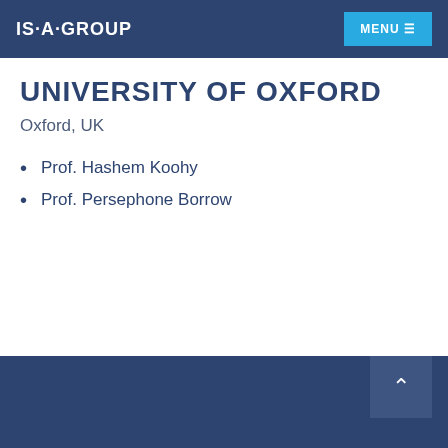IS·A·GROUP
UNIVERSITY OF OXFORD
Oxford, UK
Prof. Hashem Koohy
Prof. Persephone Borrow
AFFILIATIONS